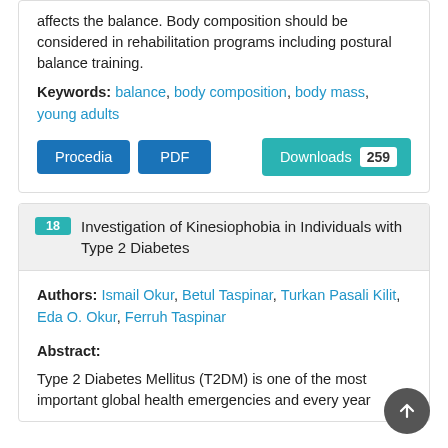affects the balance. Body composition should be considered in rehabilitation programs including postural balance training.
Keywords: balance, body composition, body mass, young adults
Procedia  PDF  Downloads 259
18 Investigation of Kinesiophobia in Individuals with Type 2 Diabetes
Authors: Ismail Okur, Betul Taspinar, Turkan Pasali Kilit, Eda O. Okur, Ferruh Taspinar
Abstract:
Type 2 Diabetes Mellitus (T2DM) is one of the most important global health emergencies and every year